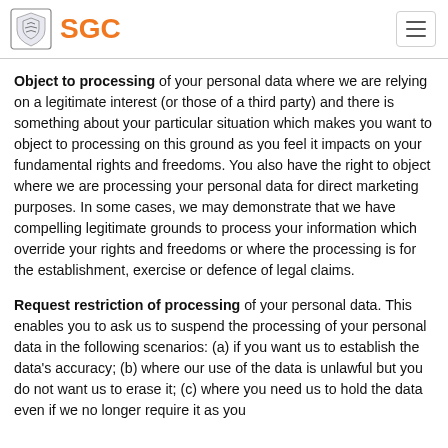SGC
Object to processing of your personal data where we are relying on a legitimate interest (or those of a third party) and there is something about your particular situation which makes you want to object to processing on this ground as you feel it impacts on your fundamental rights and freedoms. You also have the right to object where we are processing your personal data for direct marketing purposes. In some cases, we may demonstrate that we have compelling legitimate grounds to process your information which override your rights and freedoms or where the processing is for the establishment, exercise or defence of legal claims.
Request restriction of processing of your personal data. This enables you to ask us to suspend the processing of your personal data in the following scenarios: (a) if you want us to establish the data's accuracy; (b) where our use of the data is unlawful but you do not want us to erase it; (c) where you need us to hold the data even if we no longer require it as you